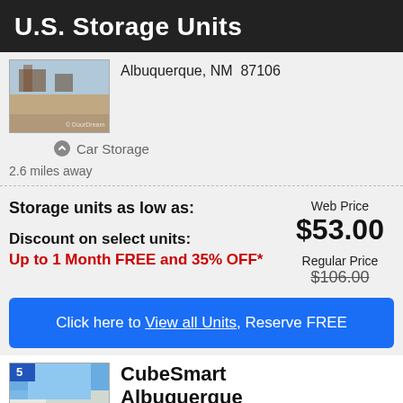U.S. Storage Units
Albuquerque, NM  87106
[Figure (photo): Exterior photo of storage facility with trees and sky]
🔘 Car Storage
2.6 miles away
Storage units as low as:
Web Price
$53.00
Discount on select units:
Up to 1 Month FREE and 35% OFF*
Regular Price
$106.00
Click here to View all Units, Reserve FREE
[Figure (photo): Exterior photo of CubeSmart Albuquerque facility]
CubeSmart Albuquerque
100 Menaul Blvd NE...